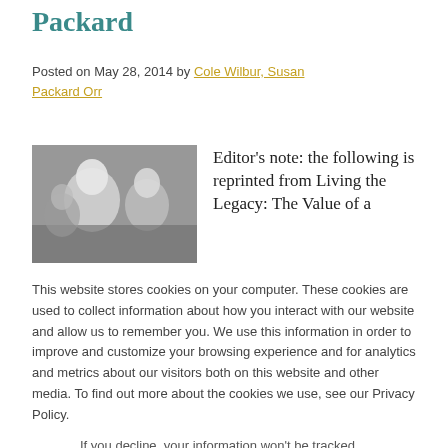Packard
Posted on May 28, 2014 by Cole Wilbur, Susan Packard Orr
[Figure (photo): Black and white photo of people, partially visible]
Editor's note: the following is reprinted from Living the Legacy: The Value of a
This website stores cookies on your computer. These cookies are used to collect information about how you interact with our website and allow us to remember you. We use this information in order to improve and customize your browsing experience and for analytics and metrics about our visitors both on this website and other media. To find out more about the cookies we use, see our Privacy Policy.
If you decline, your information won't be tracked when you visit this website. A single cookie will be used in your browser to remember your preference not to be tracked.
Accept
Decline